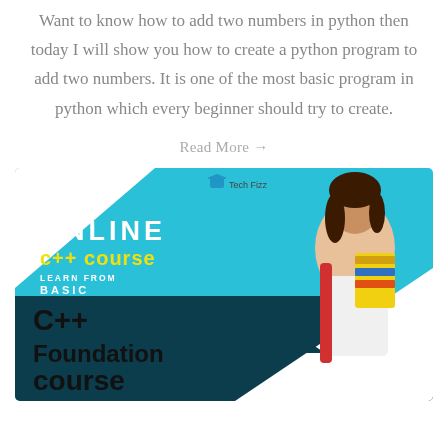Want to know how to add two numbers in python then today I will show you how to create a python program to add two numbers. It is one of the most basic program in python which every beginner should try to create.
Read More →
[Figure (illustration): Advertisement banner for Tech Fizz Online C++ course - Learn from Basic. Shows 'ONLINE' in white bold letters, 'c++ course' in yellow, 'LEARN FROM BASIC' in white, and below a dark teal section with 'C++ Foundation course' in black bold. A female student holding books is on the right. Website URL www.techfizz.in at bottom right.]